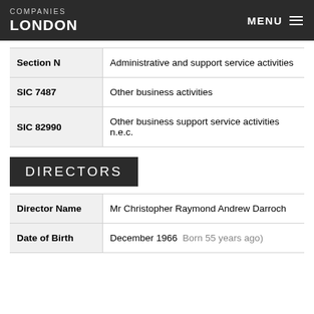COMPANIES LONDON | MENU
| Category | Description |
| --- | --- |
| Section N | Administrative and support service activities |
| SIC 7487 | Other business activities |
| SIC 82990 | Other business support service activities n.e.c. |
DIRECTORS
| Field | Value |
| --- | --- |
| Director Name | Mr Christopher Raymond Andrew Darroch |
| Date of Birth | December 1966  (Born 55 years ago) |